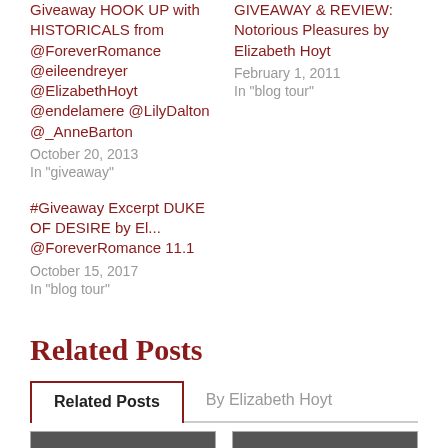Giveaway HOOK UP with HISTORICALS from @ForeverRomance @eileendreyer @ElizabethHoyt @endelamere @LilyDalton @_AnneBarton
October 20, 2013
In "giveaway"
GIVEAWAY & REVIEW: Notorious Pleasures by Elizabeth Hoyt
February 1, 2011
In "blog tour"
#Giveaway Excerpt DUKE OF DESIRE by El... @ForeverRomance 11.1
October 15, 2017
In "blog tour"
Related Posts
Related Posts | By Elizabeth Hoyt